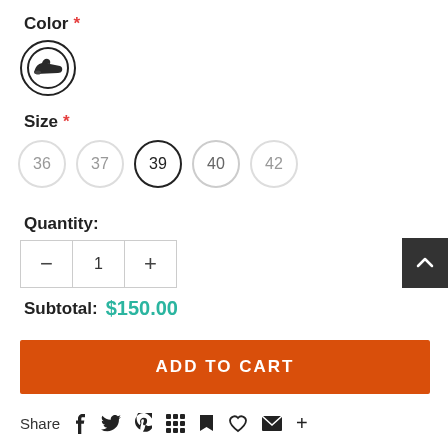Color *
[Figure (illustration): Circular swatch showing a dark shoe silhouette with black border]
Size *
36  37  39 (selected)  40  42
Quantity:
- 1 +
Subtotal: $150.00
ADD TO CART
Share  (social icons: facebook, twitter, pinterest, grid, bookmark, heart, email, plus)